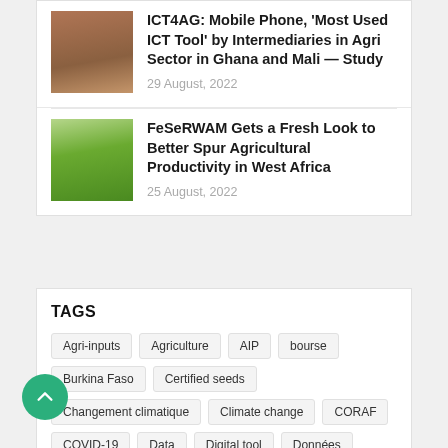[Figure (photo): Thumbnail photo of a person (woman) sitting outdoors]
ICT4AG: Mobile Phone, 'Most Used ICT Tool' by Intermediaries in Agri Sector in Ghana and Mali — Study
29 August, 2022
[Figure (photo): Thumbnail photo of a green agricultural field]
FeSeRWAM Gets a Fresh Look to Better Spur Agricultural Productivity in West Africa
25 August, 2022
TAGS
Agri-inputs
Agriculture
AIP
bourse
Burkina Faso
Certified seeds
Changement climatique
Climate change
CORAF
COVID-19
Data
Digital tool
Données